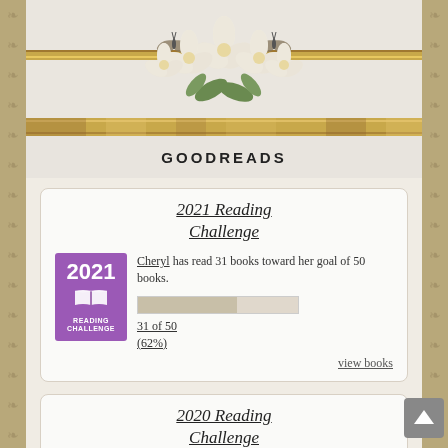[Figure (illustration): Floral header with white/cream flowers, green leaves, and decorative gold-striped ribbon with small butterflies on each side]
GOODREADS
2021 Reading Challenge
Cheryl has read 31 books toward her goal of 50 books. 31 of 50 (62%)
view books
2020 Reading Challenge
Cheryl has read 43 books toward her goal of 50 books.